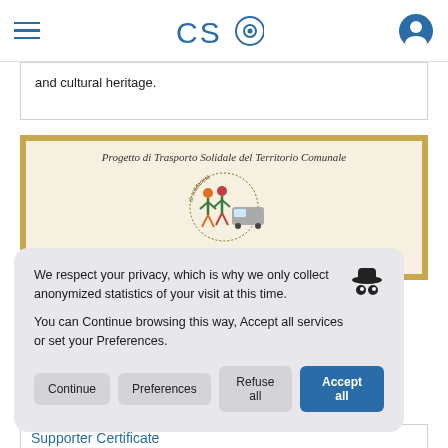CSO (logo with eye icon)
and cultural heritage.
[Figure (illustration): Document image showing 'Progetto di Trasporto Solidale del Territorio Comunale' with decorative border and a logo featuring people and a vehicle with text 'di solidarietà']
We respect your privacy, which is why we only collect anonymized statistics of your visit at this time.

You can Continue browsing this way, Accept all services or set your Preferences.
Continue  Preferences  Refuse all  Accept all
Supporter Certificate